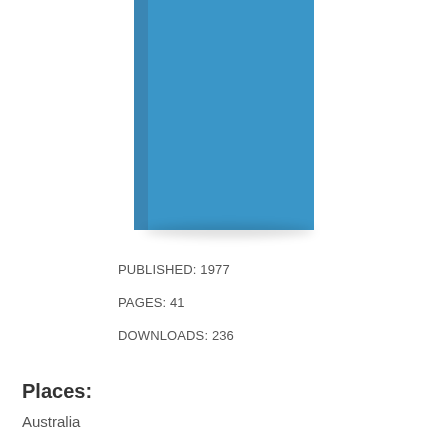[Figure (illustration): Blue book cover with darker blue spine, showing a solid blue hardcover book viewed from a slight angle, with a subtle drop shadow beneath it.]
PUBLISHED: 1977
PAGES: 41
DOWNLOADS: 236
Places:
Australia